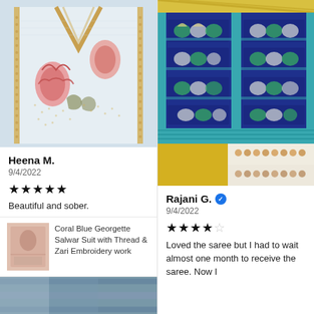[Figure (photo): Photo of a white embroidered kurti/salwar suit with floral embroidery and zari work on the neckline area]
Heena M.
9/4/2022
★★★★★
Beautiful and sober.
[Figure (photo): Thumbnail of Coral Blue Georgette Salwar Suit product]
Coral Blue Georgette Salwar Suit with Thread & Zari Embroidery work
[Figure (photo): Photo of a blue and teal Patola/Ikat saree with yellow border folded and displayed]
Rajani G. ✓
9/4/2022
★★★★☆
Loved the saree but I had to wait almost one month to receive the saree. Now I
[Figure (photo): Bottom left cropped photo showing another fabric/garment]